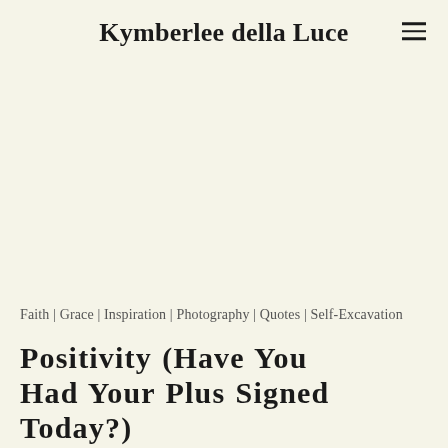Kymberlee della Luce
Faith | Grace | Inspiration | Photography | Quotes | Self-Excavation
Positivity (Have You Had Your Plus Signed Today?)